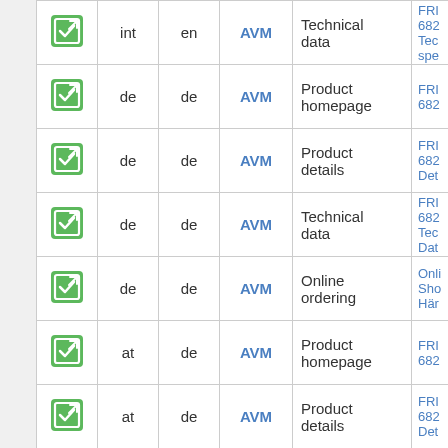|  |  | lang | locale | vendor | type | link |
| --- | --- | --- | --- | --- | --- | --- |
|  | ✓ | int | en | AVM | Technical data | FRI 682 Tec spe... |
|  | ✓ | de | de | AVM | Product homepage | FRI 682... |
|  | ✓ | de | de | AVM | Product details | FRI 682 Det... |
|  | ✓ | de | de | AVM | Technical data | FRI 682 Tec Dat... |
|  | ✓ | de | de | AVM | Online ordering | Onli Sho Här... |
|  | ✓ | at | de | AVM | Product homepage | FRI 682... |
|  | ✓ | at | de | AVM | Product details | FRI 682 Det... |